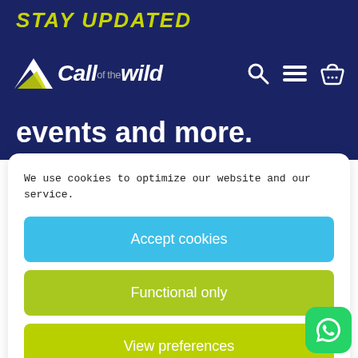STAY UPDATED
[Figure (logo): Call of the Wild logo with mountain icon and white italic text on dark blue background, with search, menu, and basket icons]
events and more.
We use cookies to optimize our website and our service.
Accept cookies
Functional only
View preferences
Cookie Policy   Privacy Policy